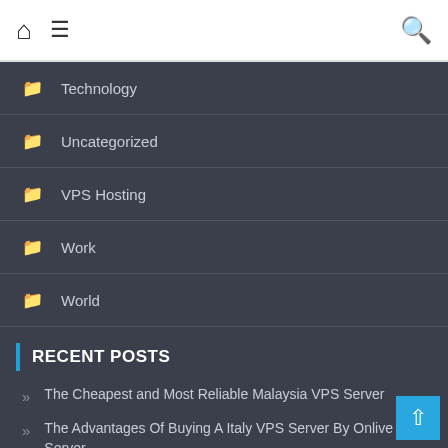Home / Menu / Search
Technology
Uncategorized
VPS Hosting
Work
World
RECENT POSTS
The Cheapest and Most Reliable Malaysia VPS Server
The Advantages Of Buying A Italy VPS Server By Onlive Server
France VPS Server Offers High-Quality Services by Onlive Server